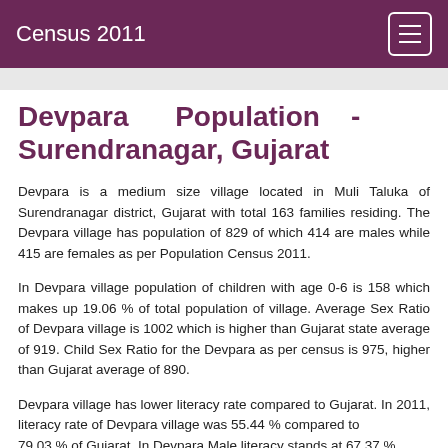Census 2011
Devpara Population - Surendranagar, Gujarat
Devpara is a medium size village located in Muli Taluka of Surendranagar district, Gujarat with total 163 families residing. The Devpara village has population of 829 of which 414 are males while 415 are females as per Population Census 2011.
In Devpara village population of children with age 0-6 is 158 which makes up 19.06 % of total population of village. Average Sex Ratio of Devpara village is 1002 which is higher than Gujarat state average of 919. Child Sex Ratio for the Devpara as per census is 975, higher than Gujarat average of 890.
Devpara village has lower literacy rate compared to Gujarat. In 2011, literacy rate of Devpara village was 55.44 % compared to 79.03 % of Gujarat. In Devpara Male literacy stands at 67.37 %